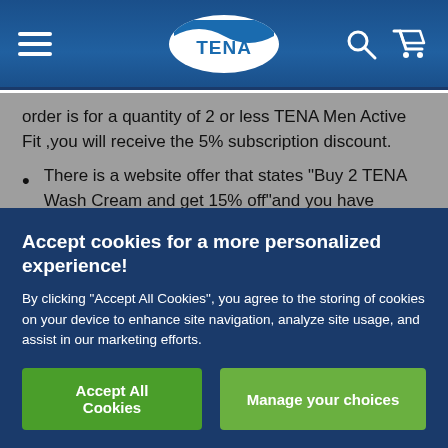TENA website header with hamburger menu, TENA logo, search icon, and cart icon
order is for a quantity of 2 or less TENA Men Active Fit ,you will receive the 5% subscription discount.
There is a website offer that states “Buy 2 TENA Wash Cream and get 15% off”and you have ordered TENA Wash Cream as a subscription order.If you have a subscription with a quantity of 2
Accept cookies for a more personalized experience!
By clicking “Accept All Cookies”, you agree to the storing of cookies on your device to enhance site navigation, analyze site usage, and assist in our marketing efforts.
Accept All Cookies   Manage your choices